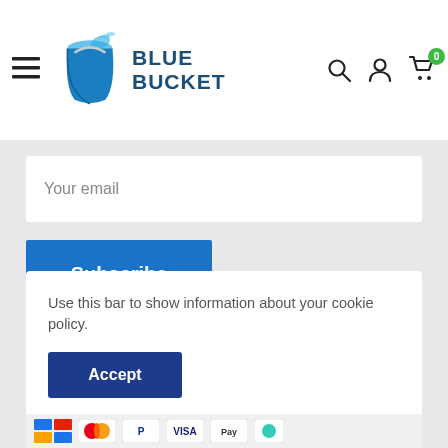[Figure (logo): Blue Bucket logo with blue bucket icon and text 'BLUE BUCKET' in dark blue]
[Figure (screenshot): Navigation header with hamburger menu, search icon, person/account icon, cart icon with badge showing 0]
Your email
Subscribe
Follow Us
[Figure (illustration): Facebook and Instagram social media icons (circular gray icons)]
Use this bar to show information about your cookie policy.
Accept
[Figure (illustration): Payment method icons including Mastercard, PayPal, Visa and others partially visible]